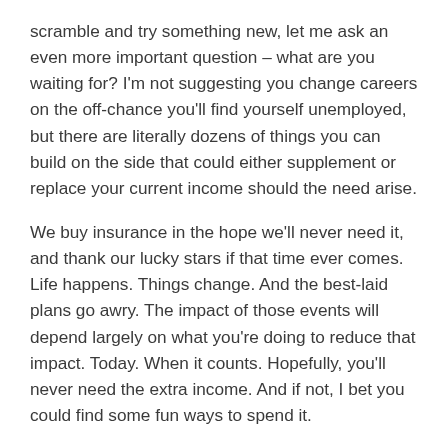scramble and try something new, let me ask an even more important question – what are you waiting for? I'm not suggesting you change careers on the off-chance you'll find yourself unemployed, but there are literally dozens of things you can build on the side that could either supplement or replace your current income should the need arise.
We buy insurance in the hope we'll never need it, and thank our lucky stars if that time ever comes. Life happens. Things change. And the best-laid plans go awry. The impact of those events will depend largely on what you're doing to reduce that impact. Today. When it counts. Hopefully, you'll never need the extra income. And if not, I bet you could find some fun ways to spend it.
That's all for now. Have an awesome day!